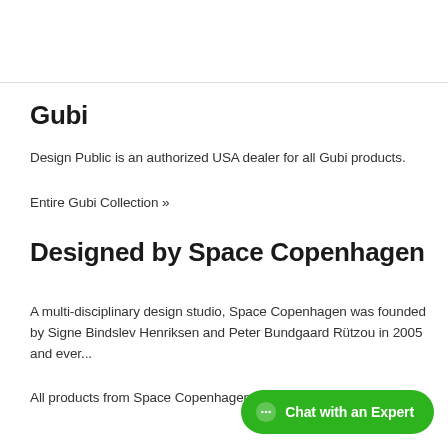Gubi
Design Public is an authorized USA dealer for all Gubi products.
Entire Gubi Collection »
Designed by Space Copenhagen
A multi-disciplinary design studio, Space Copenhagen was founded by Signe Bindslev Henriksen and Peter Bundgaard Rützou in 2005 and ever...
All products from Space Copenhagen »
[Figure (other): Green 'Chat with an Expert' chat button in bottom right corner]